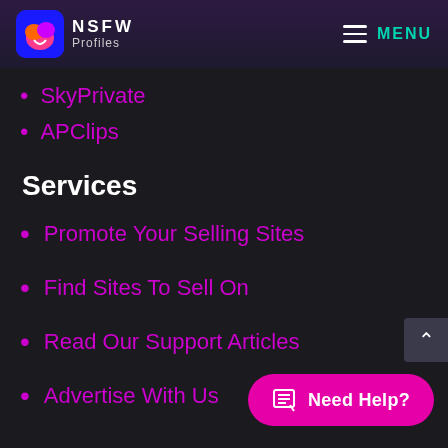NSFW Profiles — MENU
SkyPrivate
APClips
Services
Promote Your Selling Sites
Find Sites To Sell On
Read Our Support Articles
Advertise With Us
Need Help?